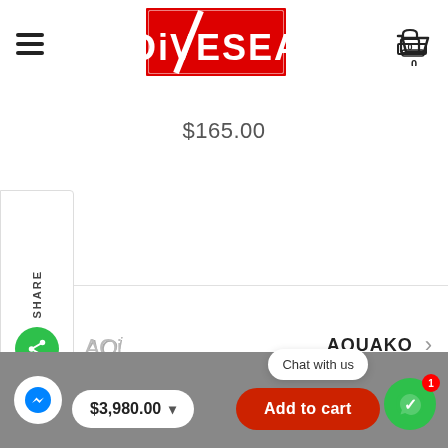[Figure (logo): DIVESEA logo in red block letters inside a red rectangle border]
$165.00
AQUAKO
$3,980.00
Add to cart
Chat with us